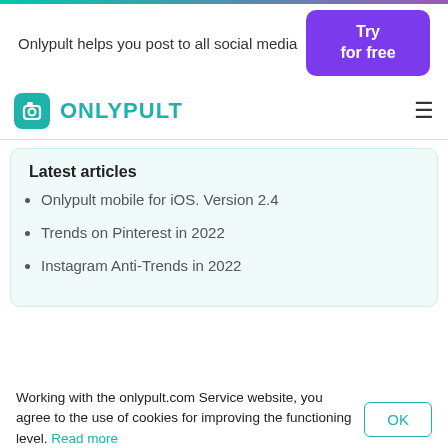Onlypult helps you post to all social media | Try for free
[Figure (logo): Onlypult logo — teal camera icon with 'ONLYPULT' text in teal, and hamburger menu icon on the right]
Latest articles
Onlypult mobile for iOS. Version 2.4
Trends on Pinterest in 2022
Instagram Anti-Trends in 2022
Working with the onlypult.com Service website, you agree to the use of cookies for improving the functioning level. Read more